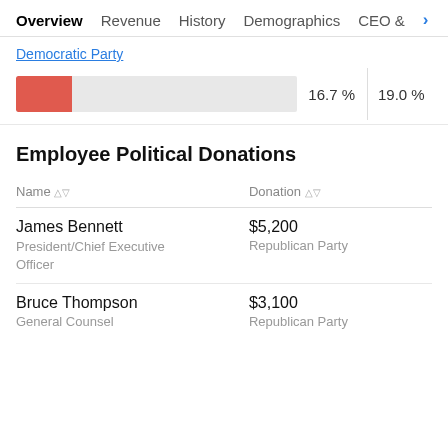Overview  Revenue  History  Demographics  CEO & >
Democratic Party
[Figure (bar-chart): Horizontal bar chart showing Democratic Party at 16.7%, with a separate column showing 19.0%]
Employee Political Donations
| Name | Donation |
| --- | --- |
| James Bennett
President/Chief Executive Officer | $5,200
Republican Party |
| Bruce Thompson
General Counsel | $3,100
Republican Party |